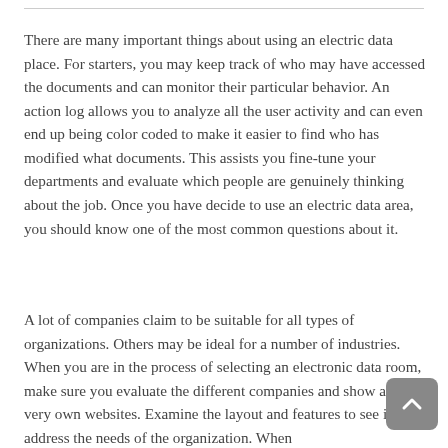There are many important things about using an electric data place. For starters, you may keep track of who may have accessed the documents and can monitor their particular behavior. An action log allows you to analyze all the user activity and can even end up being color coded to make it easier to find who has modified what documents. This assists you fine-tune your departments and evaluate which people are genuinely thinking about the job. Once you have decide to use an electric data area, you should know one of the most common questions about it.
A lot of companies claim to be suitable for all types of organizations. Others may be ideal for a number of industries. When you are in the process of selecting an electronic data room, make sure you evaluate the different companies and show at their very own websites. Examine the layout and features to see if they address the needs of the organization. When